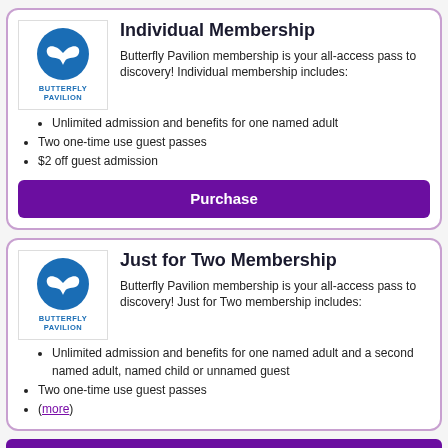Individual Membership
Butterfly Pavilion membership is your all-access pass to discovery! Individual membership includes:
Unlimited admission and benefits for one named adult
Two one-time use guest passes
$2 off guest admission
Purchase
Just for Two Membership
Butterfly Pavilion membership is your all-access pass to discovery! Just for Two membership includes:
Unlimited admission and benefits for one named adult and a second named adult, named child or unnamed guest
Two one-time use guest passes
(more)